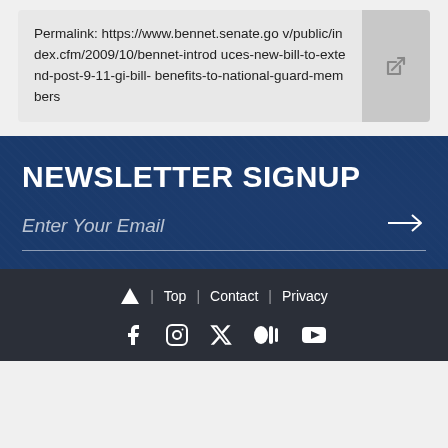Permalink: https://www.bennet.senate.gov/public/index.cfm/2009/10/bennet-introduces-new-bill-to-extend-post-9-11-gi-bill-benefits-to-national-guard-members
NEWSLETTER SIGNUP
Enter Your Email
▲ | Top | Contact | Privacy